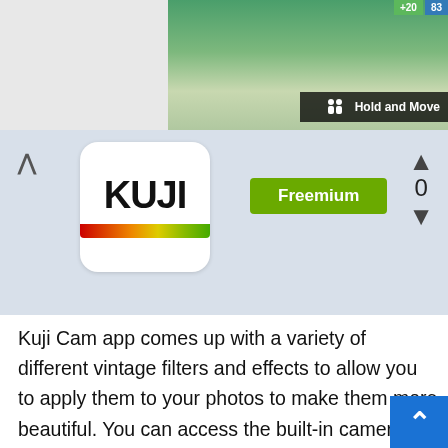[Figure (screenshot): Top portion of a webpage showing a nature/outdoor image with a dark badge reading 'Hold and Move' and score badges showing +20 and 83 at the top right]
[Figure (logo): Kuji Cam app icon: white rounded square with bold black text 'KUJI' and a rainbow gradient bar at the bottom]
Freemium
0
Kuji Cam app comes up with a variety of different vintage filters and effects to allow you to apply them to your photos to make them more beautiful. You can access the built-in camera to take live videos and photos to edit them while on the go or can import photos from various sources to edit them. The app features advanced cropping options through whic